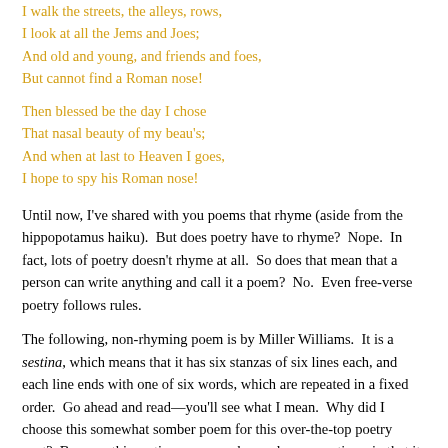I walk the streets, the alleys, rows,
I look at all the Jems and Joes;
And old and young, and friends and foes,
But cannot find a Roman nose!
Then blessed be the day I chose
That nasal beauty of my beau's;
And when at last to Heaven I goes,
I hope to spy his Roman nose!
Until now, I've shared with you poems that rhyme (aside from the hippopotamus haiku).  But does poetry have to rhyme?  Nope.  In fact, lots of poetry doesn't rhyme at all.  So does that mean that a person can write anything and call it a poem?  No.  Even free-verse poetry follows rules.
The following, non-rhyming poem is by Miller Williams.  It is a sestina, which means that it has six stanzas of six lines each, and each line ends with one of six words, which are repeated in a fixed order.  Go ahead and read—you'll see what I mean.  Why did I choose this somewhat somber poem for this over-the-top poetry post?  Because this sestina goes way beyond many sestinas, in that it shrinks in size, making it very difficult, I imagine, to keep the